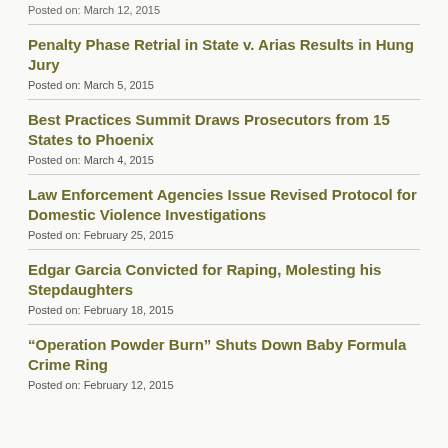Posted on: March 12, 2015
Penalty Phase Retrial in State v. Arias Results in Hung Jury
Posted on: March 5, 2015
Best Practices Summit Draws Prosecutors from 15 States to Phoenix
Posted on: March 4, 2015
Law Enforcement Agencies Issue Revised Protocol for Domestic Violence Investigations
Posted on: February 25, 2015
Edgar Garcia Convicted for Raping, Molesting his Stepdaughters
Posted on: February 18, 2015
“Operation Powder Burn” Shuts Down Baby Formula Crime Ring
Posted on: February 12, 2015